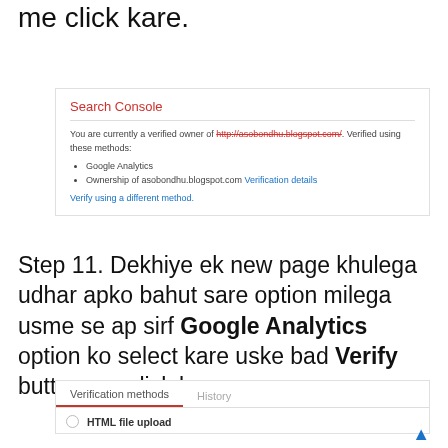me click kare.
[Figure (screenshot): Search Console screenshot showing verified ownership with Google Analytics and Ownership of asobondhu.blogspot.com with a Verification details link and Verify using a different method link]
Step 11. Dekhiye ek new page khulega udhar apko bahut sare option milega usme se ap sirf Google Analytics option ko select kare uske bad Verify button par click kare.
[Figure (screenshot): Verification methods tab selected with History tab beside it and HTML file upload option visible]